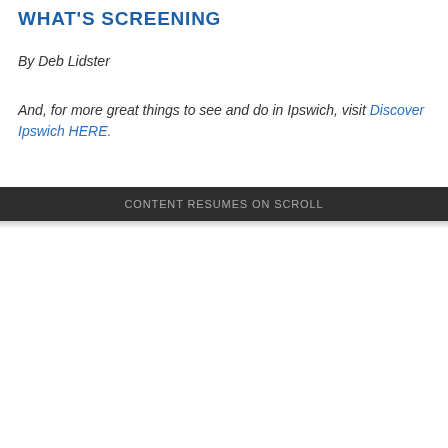WHAT'S SCREENING
By Deb Lidster
And, for more great things to see and do in Ipswich, visit Discover Ipswich HERE.
CONTENT RESUMES ON SCROLL